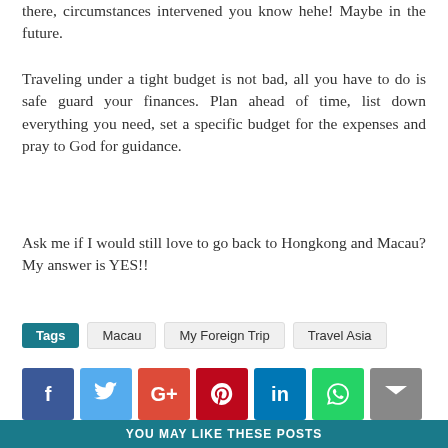there, circumstances intervened you know hehe! Maybe in the future.
Traveling under a tight budget is not bad, all you have to do is safe guard your finances. Plan ahead of time, list down everything you need, set a specific budget for the expenses and pray to God for guidance.
Ask me if I would still love to go back to Hongkong and Macau? My answer is YES!!
Tags   Macau   My Foreign Trip   Travel Asia
[Figure (infographic): Social sharing buttons: Facebook (blue), Twitter (light blue), Google+ (red-orange), Pinterest (dark red), LinkedIn (blue), WhatsApp (green), Email (gray)]
< OLDER  Preparing for my First Foreign Trip!     NEWER >  Hong Kong! Our DIY Trip 2013
YOU MAY LIKE THESE POSTS